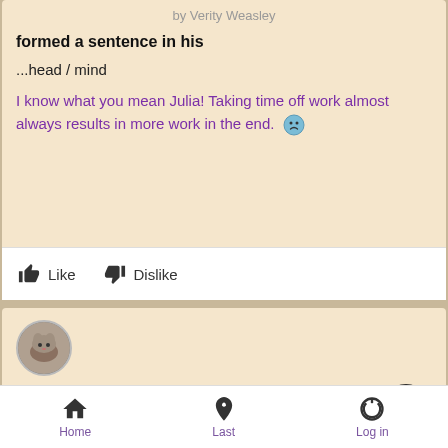by Verity Weasley
formed a sentence in his
...head / mind
I know what you mean Julia! Taking time off work almost always results in more work in the end. 😕
Like  Dislike
[Figure (photo): Circular avatar photo of a cat or animal]
by Julia H.
mind, took a deep breath
Yes, Verity, that's exactly so! 😊
Home  Last  Log in